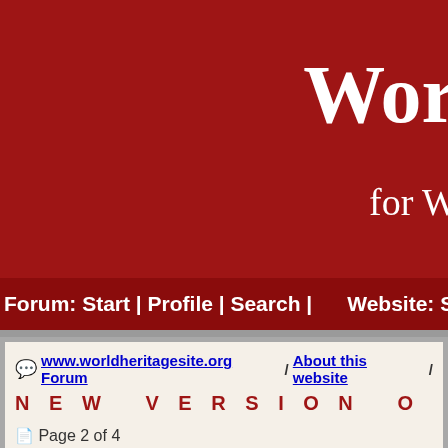Wor
for W
Forum: Start | Profile | Search |      Website: Start | The
www.worldheritagesite.org Forum / About this website /
NEW VERSION OF THE WEE
Page 2 of 4
<< 1 2 3 4 >>
#16 | Posted: 13 Oct 2014 10:06
evilweevil
Partaker
Somehow I miss the reviews from yo highlighted again, separate from the